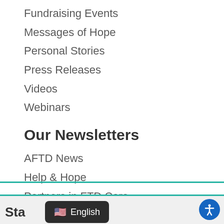Fundraising Events
Messages of Hope
Personal Stories
Press Releases
Videos
Webinars
Our Newsletters
AFTD News
Help & Hope
Partners in FTD Care
VIEW EVENTS CALENDAR
Sta... English